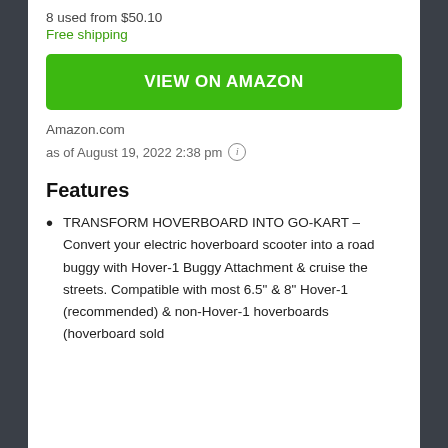8 used from $50.10
Free shipping
VIEW ON AMAZON
Amazon.com
as of August 19, 2022 2:38 pm ℹ
Features
TRANSFORM HOVERBOARD INTO GO-KART – Convert your electric hoverboard scooter into a road buggy with Hover-1 Buggy Attachment & cruise the streets. Compatible with most 6.5" & 8" Hover-1 (recommended) & non-Hover-1 hoverboards (hoverboard sold